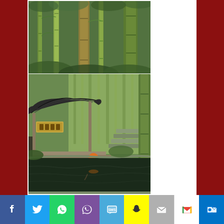[Figure (photo): Photo of a bamboo forest with tall green bamboo stalks and lush undergrowth]
[Figure (photo): Photo of a traditional Chinese pavilion with curved roof next to a dark reflective pond, surrounded by bamboo and greenery, with a person in an orange hat crouching at the water's edge]
[Figure (infographic): Social media sharing bar with icons for Facebook, Twitter, WhatsApp, Viber, SMS, Snapchat, Email, Gmail, and Outlook]